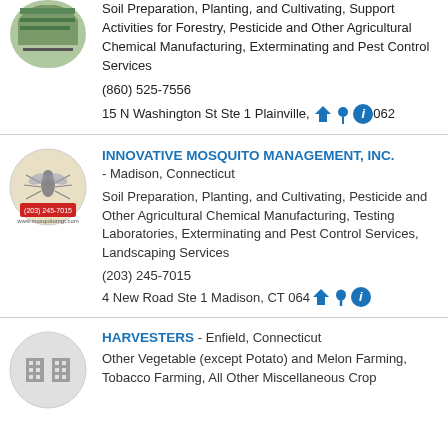[Figure (logo): Partial circular company logo at top, partially cut off]
Soil Preparation, Planting, and Cultivating, Support Activities for Forestry, Pesticide and Other Agricultural Chemical Manufacturing, Exterminating and Pest Control Services
(860) 525-7556
15 N Washington St Ste 1 Plainville, CT 06062
[Figure (logo): Circular beige logo for Innovative Mosquito Management with mosquito illustration and contact info]
INNOVATIVE MOSQUITO MANAGEMENT, INC. - Madison, Connecticut
Soil Preparation, Planting, and Cultivating, Pesticide and Other Agricultural Chemical Manufacturing, Testing Laboratories, Exterminating and Pest Control Services, Landscaping Services
(203) 245-7015
4 New Road Ste 1 Madison, CT 0644
[Figure (logo): Circular grey logo with building/grid icon for Harvesters]
HARVESTERS - Enfield, Connecticut
Other Vegetable (except Potato) and Melon Farming, Tobacco Farming, All Other Miscellaneous Crop